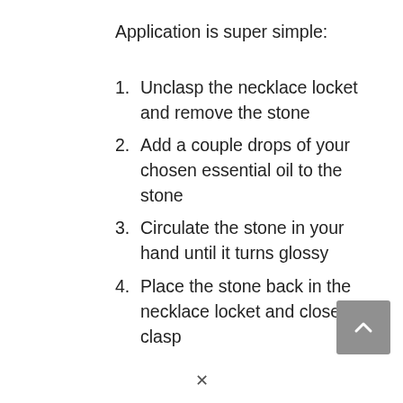Application is super simple:
Unclasp the necklace locket and remove the stone
Add a couple drops of your chosen essential oil to the stone
Circulate the stone in your hand until it turns glossy
Place the stone back in the necklace locket and close the clasp
As noted, for most oil types and